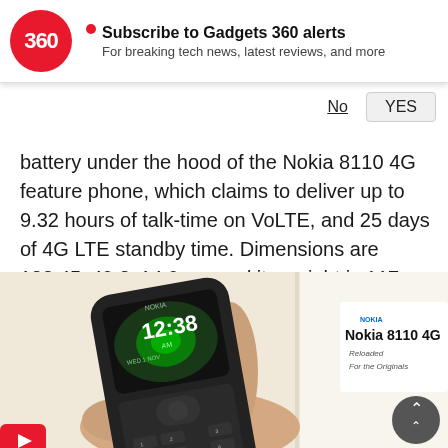[Figure (logo): Gadgets 360 subscription notification banner with red circular logo showing '360', bold text 'Subscribe to Gadgets 360 alerts', subtitle 'For breaking tech news, latest reviews, and more', and No / YES buttons]
battery under the hood of the Nokia 8110 4G feature phone, which claims to deliver up to 9.32 hours of talk-time on VoLTE, and 25 days of 4G LTE standby time. Dimensions are 133.45x49.3x14.9mm and its weight is 117 grams.
[Figure (photo): Hand holding a Nokia 8110 4G feature phone showing 12:38 on screen, with Nokia 8110 4G box in background saying 'Reloaded For the Originals']